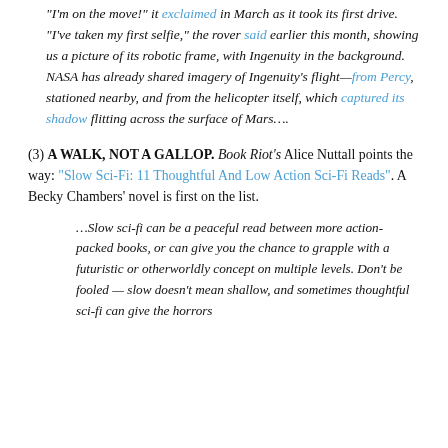“I’m on the move!” it exclaimed in March as it took its first drive. “I’ve taken my first selfie,” the rover said earlier this month, showing us a picture of its robotic frame, with Ingenuity in the background. NASA has already shared imagery of Ingenuity’s flight—from Percy, stationed nearby, and from the helicopter itself, which captured its shadow flitting across the surface of Mars….
(3) A WALK, NOT A GALLOP. Book Riot’s Alice Nuttall points the way: “Slow Sci-Fi: 11 Thoughtful And Low Action Sci-Fi Reads”. A Becky Chambers’ novel is first on the list.
…Slow sci-fi can be a peaceful read between more action-packed books, or can give you the chance to grapple with a futuristic or otherworldly concept on multiple levels. Don’t be fooled — slow doesn’t mean shallow, and sometimes thoughtful sci-fi can give the horrors